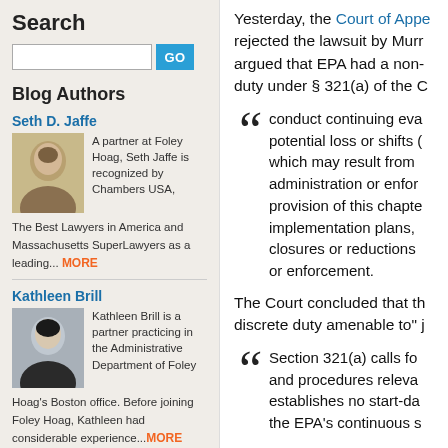Yesterday, the Court of Appeals rejected the lawsuit by Murray which argued that EPA had a non-discretionary duty under § 321(a) of the C
conduct continuing evaluation of potential loss or shifts of employment which may result from the administration or enforcement of any provision of this chapter or applicable implementation plans, including plant closures or reductions in production or enforcement.
The Court concluded that the discrete duty amenable to" j
Section 321(a) calls for and procedures relevant establishes no start-da the EPA's continuous e
Search
Blog Authors
Seth D. Jaffe
A partner at Foley Hoag, Seth Jaffe is recognized by Chambers USA, The Best Lawyers in America and Massachusetts SuperLawyers as a leading...
MORE
Kathleen Brill
Kathleen Brill is a partner practicing in the Administrative Department of Foley Hoag's Boston office. Before joining Foley Hoag, Kathleen had considerable experience...MORE